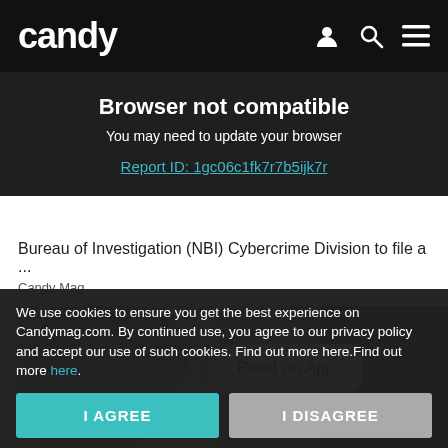candy
Browser not compatible
You may need to update your browser
Report ID: 1gc06c1fk7r7b5ijk7r
Bureau of Investigation (NBI) Cybercrime Division to file a ...
Candy Mag
[Figure (photo): Two people, one with hands on head in distress, with a 'Read on App' button overlay]
Read on App
We use cookies to ensure you get the best experience on Candymag.com. By continued use, you agree to our privacy policy and accept our use of such cookies. Find out more here.Find out more here.
I AGREE
I DISAGREE